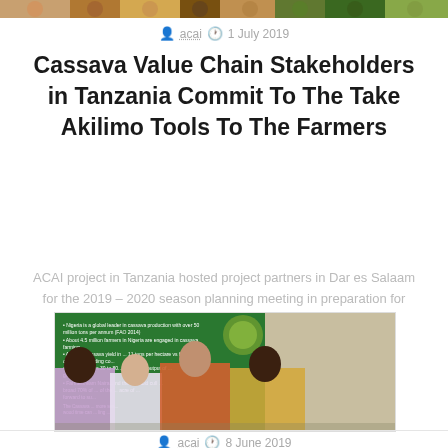[Figure (photo): Horizontal decorative strip of people photos at top of page]
acai  1 July 2019
Cassava Value Chain Stakeholders in Tanzania Commit To The Take Akilimo Tools To The Farmers
ACAI project in Tanzania hosted project partners in Dar es Salaam for the 2019 – 2020 season planning meeting in preparation for dissemination and scaling of […]
[Figure (photo): Group photo of four people standing in front of a green presentation board about cassava production]
acai  8 June 2019